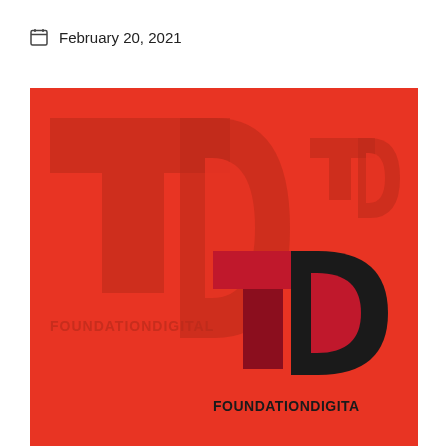📅 February 20, 2021
[Figure (logo): Red background with Foundation Digital logos — a large faded dark red TD logo mark in the upper-left area, a smaller faded TD logo mark in the upper-right, and a crisp dark red and black TD logo with text FOUNDATIONDIGITAL in the lower-right corner. The T is a red rectangle and the D is a dark shape forming the letter D.]